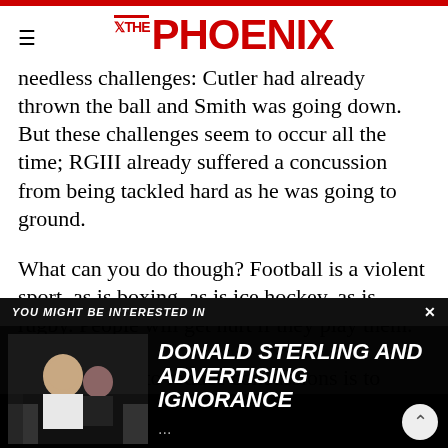THE PHOENIX
needless challenges: Cutler had already thrown the ball and Smith was going down. But these challenges seem to occur all the time; RGIII already suffered a concussion from being tackled hard as he was going to ground.
What can you do though? Football is a violent sport, as is boxing, as is ice hockey, as is rugby. People will get hurt if they play them. Players ...s as well. It is ...anything, ...ar-room brawl. ...ut the best way for the league to reduce concussions is to make players more responsible for their own safety
[Figure (screenshot): Popup overlay reading YOU MIGHT BE INTERESTED IN with article link: DONALD STERLING AND ADVERTISING IGNORANCE, with a photo of Donald Sterling]
DONALD STERLING AND ADVERTISING IGNORANCE